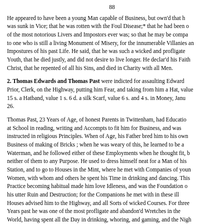88
He appeared to have been a young Man capable of Business, but own'd that he was sunk in Vice; that he was rotten with the Foul Disease;* that he had been one of the most notorious Livers and Impostors ever was; so that he may be compared to one who is still a living Monument of Misery, for the innumerable Villanies and Impostures of his past Life. He said, that he was such a wicked and profligate Youth, that he died justly, and did not desire to live longer. He declar'd his Faith in Christ, that he repented of all his Sins, and died in Charity with all Men.
2. Thomas Edwards and Thomas Past were indicted for assaulting Edward Prior, Clerk, on the Highway, putting him Fear, and taking from him a Hat, value 15 s. a Hatband, value 1 s. 6 d. a silk Scarf, value 6 s. and 4 s. in Money, January 26.
Thomas Past, 23 Years of Age, of honest Parents in Twittenham, had Education at School in reading, writing and Accompts to fit him for Business, and was instructed in religious Principles. When of Age, his Father bred him to his own Business of making of Bricks ; when he was weary of this, he learned to be a Waterman, and he followed either of these Employments when he thought fit, but neither of them to any Purpose. He used to dress himself neat for a Man of his Station, and to go to Houses in the Mint, where he met with Companies of young Women, with whom and others he spent his Time in drinking and dancing. This Practice becoming habitual made him love Idleness, and was the Foundation of his utter Ruin and Destruction; for the Companions he met with in these ill Houses advised him to the Highway, and all Sorts of wicked Courses. For three Years past he was one of the most profligate and abandon'd Wretches in the World, having spent all the Day in drinking, whoring, and gaming, and the Night going out upon his unlawful Purchases, minding nothing of Religion or any thing that was good. He exclaimed mightily against wicked Women, and blam'd them for his Misfortunes. He married two Wives, one in Twittenham and another in Town, with whom he cohabited of late, but neither of them own'd him under his